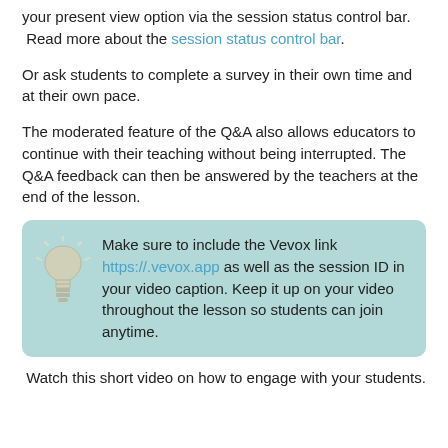your present view option via the session status control bar. Read more about the session status control bar.
Or ask students to complete a survey in their own time and at their own pace.
The moderated feature of the Q&A also allows educators to continue with their teaching without being interrupted. The Q&A feedback can then be answered by the teachers at the end of the lesson.
Make sure to include the Vevox link https://.vevox.app as well as the session ID in your video caption. Keep it up on your video throughout the lesson so students can join anytime.
Watch this short video on how to engage with your students.